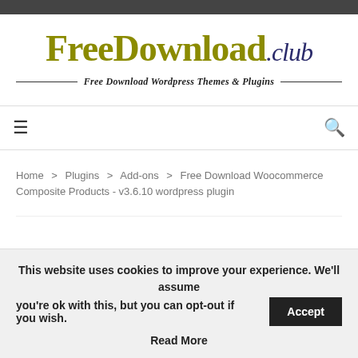FreeDownload.club
Free Download Wordpress Themes & Plugins
Home > Plugins > Add-ons > Free Download Woocommerce Composite Products - v3.6.10 wordpress plugin
This website uses cookies to improve your experience. We'll assume you're ok with this, but you can opt-out if you wish. Accept Read More